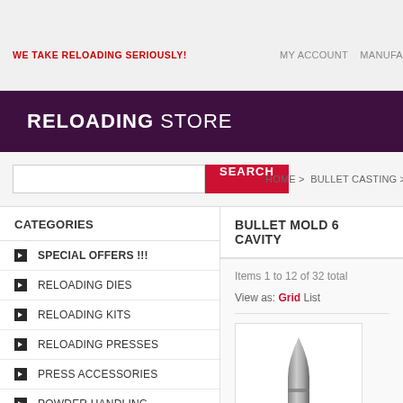WE TAKE RELOADING SERIOUSLY!
MY ACCOUNT   MANUFA...
RELOADING STORE
HOME > BULLET CASTING > HAND GUN BULL...
CATEGORIES
SPECIAL OFFERS !!!
RELOADING DIES
RELOADING KITS
RELOADING PRESSES
PRESS ACCESSORIES
POWDER HANDLING
BULLET MOLD 6 CAVITY
Items 1 to 12 of 32 total
View as: Grid  List
[Figure (photo): Bullet mold product image showing metallic bullet shape]